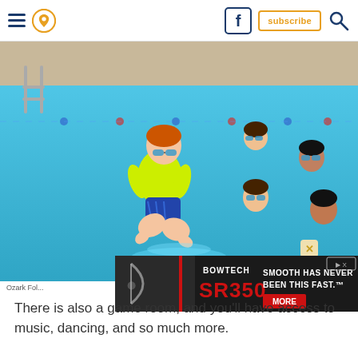Navigation header with hamburger menu, location icon, Facebook icon, subscribe button, and search icon
[Figure (photo): Children playing in an outdoor swimming pool. A boy in a neon yellow shirt and swim goggles is jumping/cannonballing into the pool while several other children swim in the background. The pool has blue lane dividers.]
[Figure (other): Advertisement banner for Bowtech SR350 bow. Text reads: BOWTECH SR350 SMOOTH HAS NEVER BEEN THIS FAST. MORE button in red.]
Ozark Fol...
There is also a game room, and you'll have access to music, dancing, and so much more.